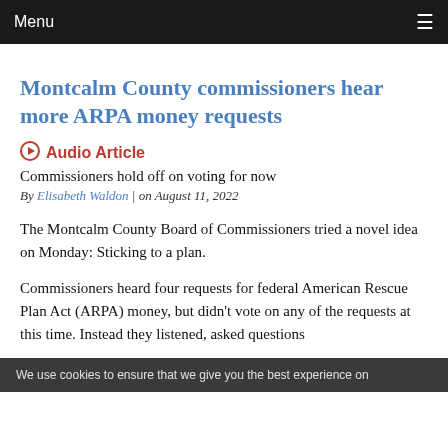Menu
Montcalm County commissioners hear more ARPA money requests
[Figure (other): Audio Article play button icon with label]
Commissioners hold off on voting for now
By Elisabeth Waldon | on August 11, 2022
The Montcalm County Board of Commissioners tried a novel idea on Monday: Sticking to a plan.
Commissioners heard four requests for federal American Rescue Plan Act (ARPA) money, but didn't vote on any of the requests at this time. Instead they listened, asked questions
We use cookies to ensure that we give you the best experience on